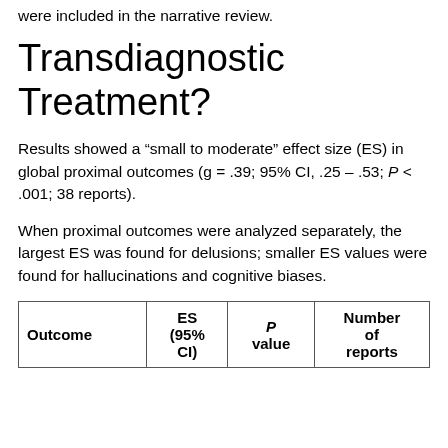were included in the narrative review.
Transdiagnostic Treatment?
Results showed a “small to moderate” effect size (ES) in global proximal outcomes (g = .39; 95% CI, .25 – .53; P < .001; 38 reports).
When proximal outcomes were analyzed separately, the largest ES was found for delusions; smaller ES values were found for hallucinations and cognitive biases.
| Outcome | ES (95% CI) | P value | Number of reports |
| --- | --- | --- | --- |